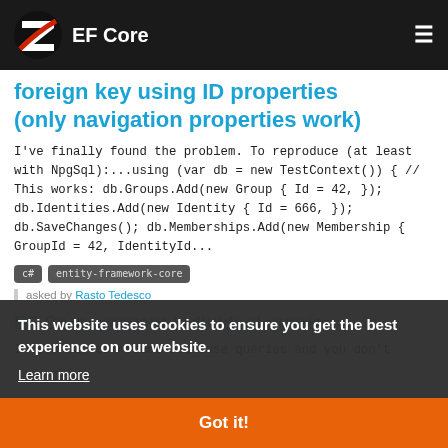EF Core
foreign key using ID properties (only navigation properties work)
I've finally found the problem. To reproduce (at least with NpgSql):...using (var db = new TestContext()) { // This works: db.Groups.Add(new Group { Id = 42, }); db.Identities.Add(new Identity { Id = 666, }); db.SaveChanges(); db.Memberships.Add(new Membership { GroupId = 42, IdentityId...
c# entity-framework-core
asked by Rasto Tedesco
EF Core: prevent individual queries
If you wan to reduce database queries and you don't
This website uses cookies to ensure you get the best experience on our website.
Learn more
Got it!